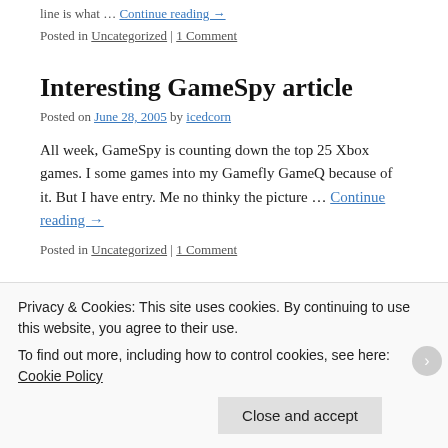line is what … Continue reading →
Posted in Uncategorized | 1 Comment
Interesting GameSpy article
Posted on June 28, 2005 by icedcorn
All week, GameSpy is counting down the top 25 Xbox games. I some games into my Gamefly GameQ because of it. But I have entry. Me no thinky the picture … Continue reading →
Posted in Uncategorized | 1 Comment
You Know Who I Respect?
Privacy & Cookies: This site uses cookies. By continuing to use this website, you agree to their use.
To find out more, including how to control cookies, see here: Cookie Policy
Close and accept